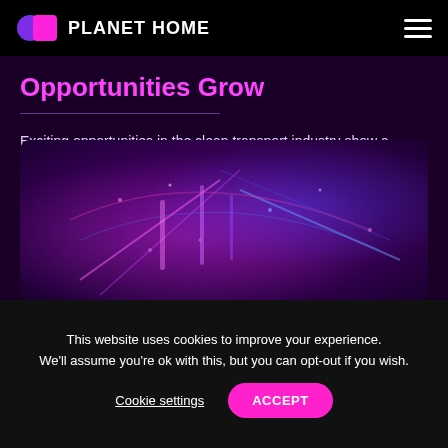PLANET HOME
Opportunities Grow
Exciting opportunities in the clean transport industry show a promising future for how we move on our planet.
[Figure (photo): Dark purple-toned image showing what appears to be a futuristic clean transport scene with colorful lights and geometric elements.]
This website uses cookies to improve your experience. We'll assume you're ok with this, but you can opt-out if you wish. Cookie settings ACCEPT